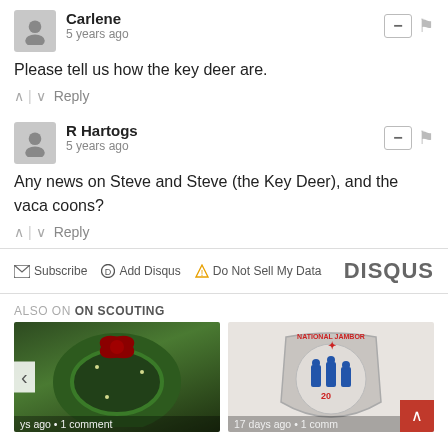Carlene
5 years ago
Please tell us how the key deer are.
^ | v  Reply
R Hartogs
5 years ago
Any news on Steve and Steve (the Key Deer), and the vaca coons?
^ | v  Reply
Subscribe  Add Disqus  Do Not Sell My Data   DISQUS
ALSO ON ON SCOUTING
[Figure (photo): Christmas wreath with red bow, thumbnail image]
ys ago • 1 comment
[Figure (logo): National Jamboree circular patch/logo with scouts silhouette]
17 days ago • 1 comm